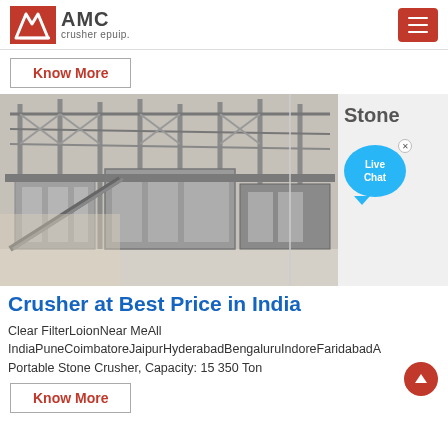AMC crusher epuip.
Know More
[Figure (photo): Industrial stone crusher facility with steel frame structure, conveyor belts, and machinery in an outdoor setting.]
Crusher at Best Price in India
Clear FilterLoionNear MeAll IndiaPuneCoimbatoreJaipurHyderabadBengaluruIndoreFaridabadA
Portable Stone Crusher, Capacity: 15 350 Ton
Know More